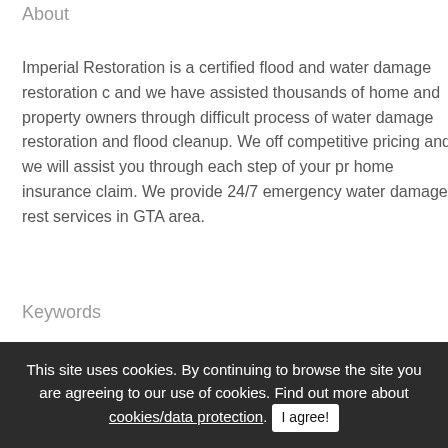About
Imperial Restoration is a certified flood and water damage restoration c... and we have assisted thousands of home and property owners through difficult process of water damage restoration and flood cleanup. We off competitive pricing and we will assist you through each step of your pr home insurance claim. We provide 24/7 emergency water damage rest services in GTA area.
Keywords
Restoration, Toronto Restorations, Water Damage Restoration Toronto, Damage Toronto, Toronto Fire Restoration, Flood Damage Restoration service, canadian restoration services, bathroom restoration, toronto re companies, kitchen renovations brampton, imperial service, shower res
This site uses cookies. By continuing to browse the site you are agreeing to our use of cookies. Find out more about cookies/data protection. I agree!